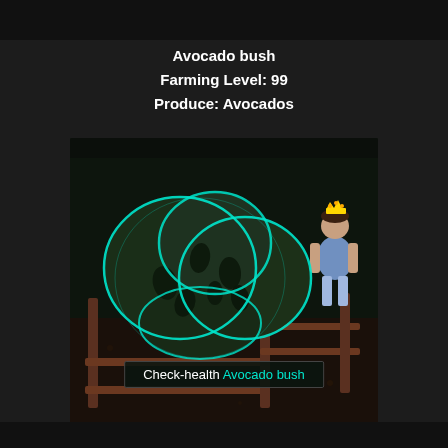Avocado bush
Farming Level: 99
Produce: Avocados
[Figure (screenshot): A video game screenshot showing a large dark green avocado bush with a cyan/teal glowing outline, enclosed in a wooden fence, with a player character wearing a crown standing nearby. A tooltip reads 'Check-health Avocado bush'.]